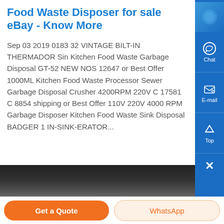Food Waste Disposer for sale eBay - Know More
Sep 03 2019 0183 32 VINTAGE BILT-IN THERMADOR Sin Kitchen Food Waste Garbage Disposal GT-52 NEW NOS 12647 or Best Offer 1000ML Kitchen Food Waste Processor Sewer Garbage Disposal Crusher 4200RPM 220V C 17581 C 8854 shipping or Best Offer 110V 220V 4000 RPM Garbage Disposer Kitchen Food Waste Sink Disposal BADGER 1 IN-SINK-ERATOR...
[Figure (photo): A dark, blurry photo showing what appears to be a kitchen or store shelf with items including a white/silver object and orange and green colored items.]